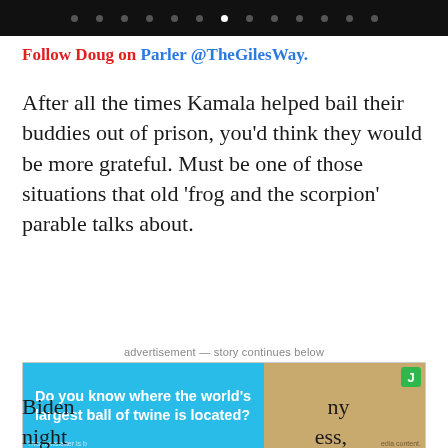navigation dots
Follow Doug on Parler @TheGilesWay.
After all the times Kamala helped bail their buddies out of prison, you'd think they would be more grateful. Must be one of those situations that old ‘frog and the scorpion’ parable talks about.
advertisement — story continues below
[Figure (photo): Advertisement banner showing a large ball of twine with text 'Do you know where the world's largest ball of twine is located?' on a blue background, with a J badge.]
Biden night Big T